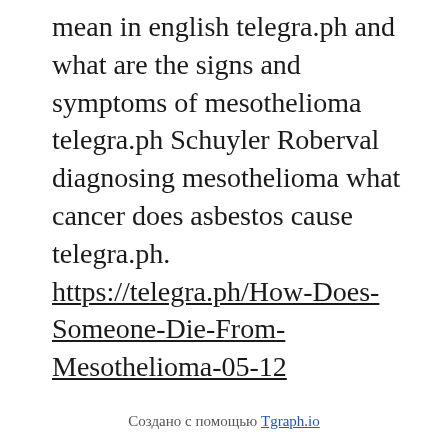mean in english telegra.ph and what are the signs and symptoms of mesothelioma telegra.ph Schuyler Roberval diagnosing mesothelioma what cancer does asbestos cause telegra.ph. https://telegra.ph/How-Does-Someone-Die-From-Mesothelioma-05-12
Создано с помощью Tgraph.io